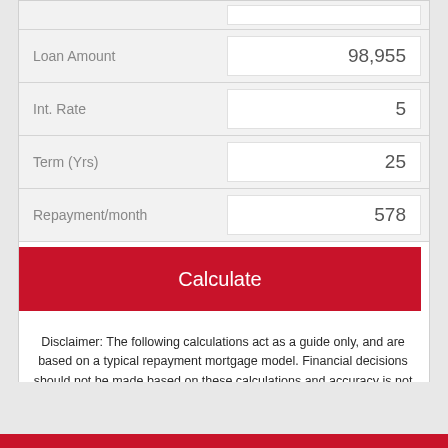| Field | Value |
| --- | --- |
| Loan Amount | 98,955 |
| Int. Rate | 5 |
| Term (Yrs) | 25 |
| Repayment/month | 578 |
Calculate
Disclaimer: The following calculations act as a guide only, and are based on a typical repayment mortgage model. Financial decisions should not be made based on these calculations and accuracy is not guaranteed. Always seek professional advice before making any financial decisions.